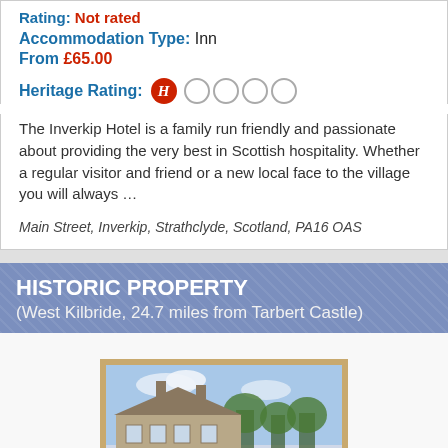Rating: Not rated
Accommodation Type: Inn
From £65.00
Heritage Rating: H (1 out of 5 circles filled)
The Inverkip Hotel is a family run friendly and passionate about providing the very best in Scottish hospitality. Whether a regular visitor and friend or a new local face to the village you will always …
Main Street, Inverkip, Strathclyde, Scotland, PA16 OAS
HISTORIC PROPERTY
(West Kilbride, 24.7 miles from Tarbert Castle)
[Figure (photo): Exterior photo of a historic stone building with trees in the background, under a blue sky]
▲ TOP